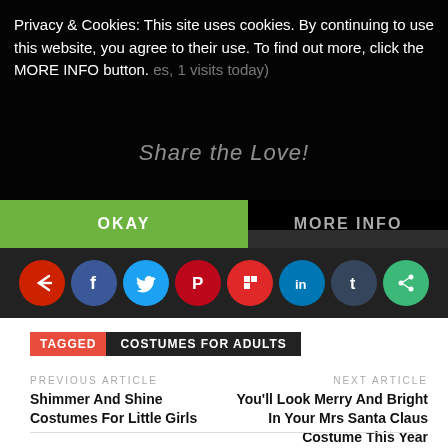Privacy & Cookies: This site uses cookies. By continuing to use this website, you agree to their use. To find out more, click the MORE INFO button.
[Figure (screenshot): Cookie consent bar with OKAY (green) and MORE INFO (dark) buttons]
[Figure (infographic): Social media sharing icons row: arrow/share, Facebook, Twitter, Pinterest, Flipboard, LinkedIn, Tumblr, share circle]
TAGGED   COSTUMES FOR ADULTS
PREVIOUS ARTICLE
Shimmer And Shine Costumes For Little Girls
NEXT ARTICLE
You'll Look Merry And Bright In Your Mrs Santa Claus Costume This Year
Leave a Reply